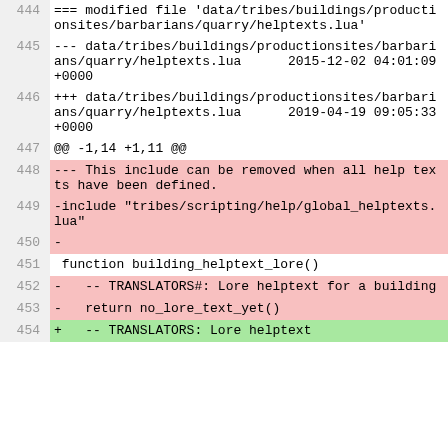444  === modified file 'data/tribes/buildings/productionsites/barbarians/quarry/helptexts.lua'
445  --- data/tribes/buildings/productionsites/barbarians/quarry/helptexts.lua	2015-12-02 04:01:09 +0000
446  +++ data/tribes/buildings/productionsites/barbarians/quarry/helptexts.lua	2019-04-19 09:05:33 +0000
447  @@ -1,14 +1,11 @@
448  --- This include can be removed when all help texts have been defined.
449  -include "tribes/scripting/help/global_helptexts.lua"
450  -
451   function building_helptext_lore()
452  -   -- TRANSLATORS#: Lore helptext for a building
453  -   return no_lore_text_yet()
454  +   -- TRANSLATORS: Lore helptext